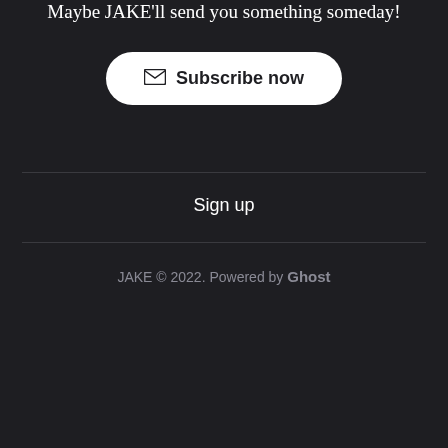Maybe JAKE'll send you something someday!
Subscribe now
Sign up
JAKE © 2022. Powered by Ghost